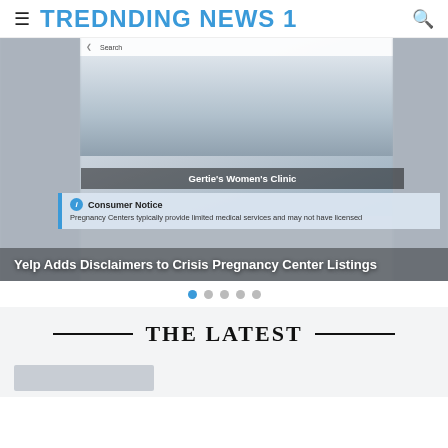TREDNDING NEWS 1
[Figure (screenshot): Hero slideshow image showing Gertie's Women's Clinic listing on a mobile app, with a Consumer Notice overlay about Crisis Pregnancy Centers providing limited medical services. Navigation dots below the image (5 dots, first highlighted in blue).]
Yelp Adds Disclaimers to Crisis Pregnancy Center Listings
— THE LATEST —